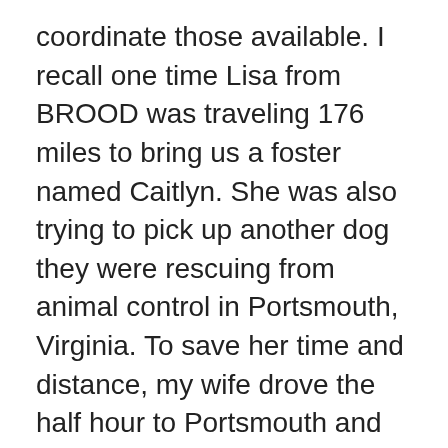coordinate those available. I recall one time Lisa from BROOD was traveling 176 miles to bring us a foster named Caitlyn. She was also trying to pick up another dog they were rescuing from animal control in Portsmouth, Virginia. To save her time and distance, my wife drove the half hour to Portsmouth and retrieved the dog there. We brought it to our house for a couple of hours and then drove a ways to meet Lisa in a shopping center parking lot to exchange dogs. It was a good experience and we got to finally meet Lisa and chat a bit.
Donations and volunteering help empower rescues. Businesses here often provide a percentage of sales to rescues which is good